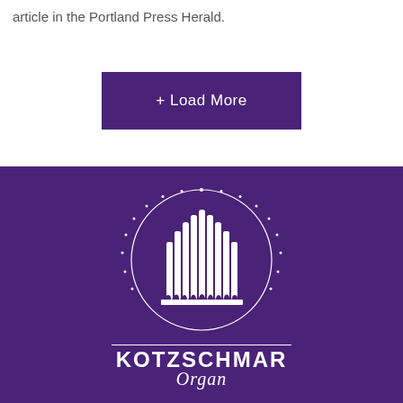article in the Portland Press Herald.
+ Load More
[Figure (logo): Kotzschmar Organ logo: white organ pipes inside a circular design with small dots around the ring, above the text 'KOTZSCHMAR Organ' on a deep purple background]